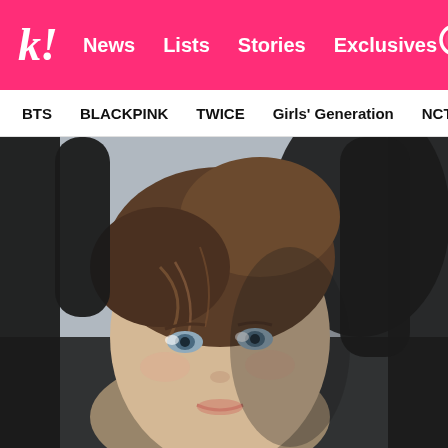k! News Lists Stories Exclusives
BTS BLACKPINK TWICE Girls' Generation NCT SEVE
[Figure (photo): Close-up portrait of a young woman with light brown upswept hair and blue-grey eyes, wearing a black outfit, photographed against a grey background]